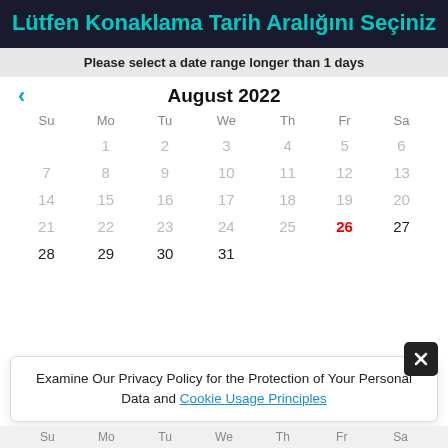Lütfen Konaklama Tarih Aralığını Seçiniz
Please select a date range longer than 1 days
[Figure (other): August 2022 calendar with dates 1-31 shown. Date 26 is highlighted in red (today). Navigation arrow on left. Days of week: Su, Mo, Tu, We, Th, Fr, Sa.]
Examine Our Privacy Policy for the Protection of Your Personal Data and Cookie Usage Principles